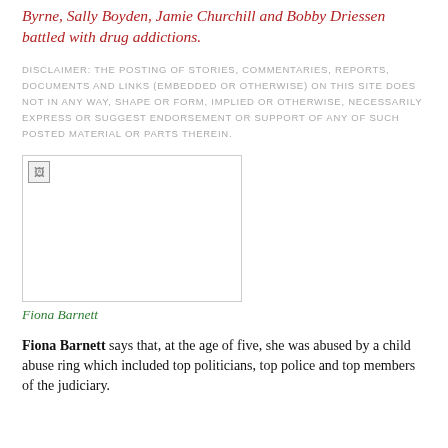Byrne, Sally Boyden, Jamie Churchill and Bobby Driessen battled with drug addictions.
DISCLAIMER: THE POSTING OF STORIES, COMMENTARIES, REPORTS, DOCUMENTS AND LINKS (EMBEDDED OR OTHERWISE) ON THIS SITE DOES NOT IN ANY WAY, SHAPE OR FORM, IMPLIED OR OTHERWISE, NECESSARILY EXPRESS OR SUGGEST ENDORSEMENT OR SUPPORT OF ANY OF SUCH POSTED MATERIAL OR PARTS THEREIN.
[Figure (photo): Broken/missing image placeholder for Fiona Barnett photo]
Fiona Barnett
Fiona Barnett says that, at the age of five, she was abused by a child abuse ring which included top politicians, top police and top members of the judiciary.